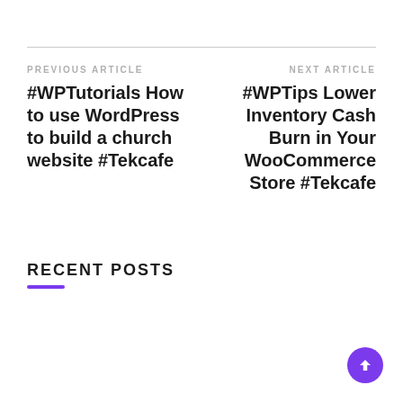PREVIOUS ARTICLE
#WPTutorials How to use WordPress to build a church website #Tekcafe
NEXT ARTICLE
#WPTips Lower Inventory Cash Burn in Your WooCommerce Store #Tekcafe
RECENT POSTS